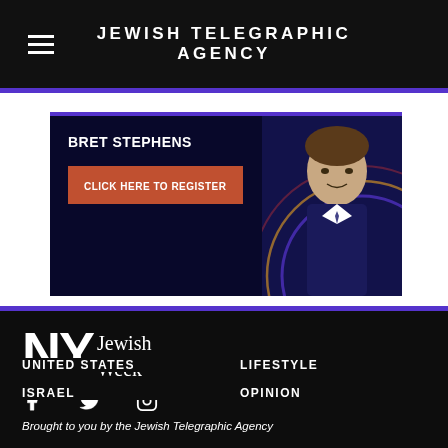JEWISH TELEGRAPHIC AGENCY
[Figure (screenshot): Advertisement banner for Bret Stephens event with dark background, decorative arcs, portrait of person in suit, name 'BRET STEPHENS' and orange 'CLICK HERE TO REGISTER' button]
[Figure (logo): NY Jewish Week logo — bold 'NY' in large sans-serif, 'Jewish Week' in serif beside it, white text on black background]
Social media icons: Facebook, Twitter, Instagram
Brought to you by the Jewish Telegraphic Agency
UNITED STATES
LIFESTYLE
ISRAEL
OPINION